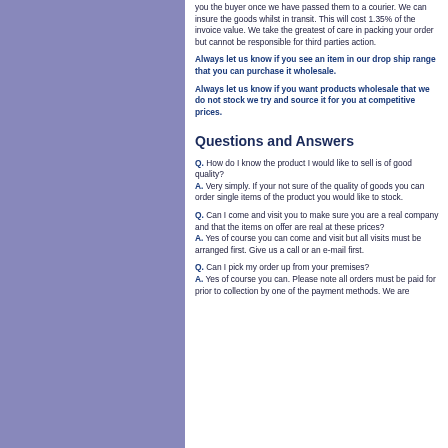you the buyer once we have passed them to a courier. We can insure the goods whilst in transit. This will cost 1.35% of the invoice value. We take the greatest of care in packing your order but cannot be responsible for third parties action.
Always let us know if you see an item in our drop ship range that you can purchase it wholesale.
Always let us know if you want products wholesale that we do not stock we try and source it for you at competitive prices.
Questions and Answers
Q. How do I know the product I would like to sell is of good quality? A. Very simply. If your not sure of the quality of goods you can order single items of the product you would like to stock.
Q. Can I come and visit you to make sure you are a real company and that the items on offer are real at these prices? A. Yes of course you can come and visit but all visits must be arranged first. Give us a call or an e-mail first.
Q. Can I pick my order up from your premises? A. Yes of course you can. Please note all orders must be paid for prior to collection by one of the payment methods. We are